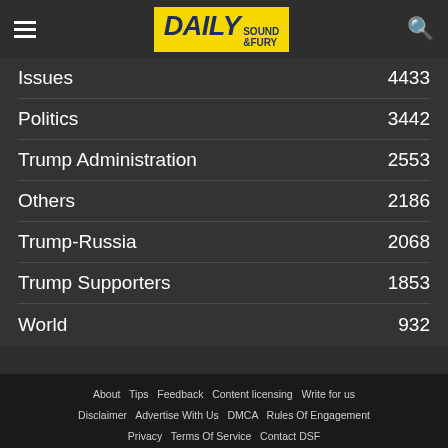Daily Sound & Fury
Issues 4433
Politics 3442
Trump Administration 2553
Others 2186
Trump-Russia 2068
Trump Supporters 1853
World 932
About  Tips  Feedback  Content licensing  Write for us  Disclaimer  Advertise With Us  DMCA  Rules Of Engagement  Privacy  Terms Of Service  Contact DSF  © Copyright Daily Sound & Fury. All rights reserved.
Disclosure  Terms and Conditions  Privacy Policy